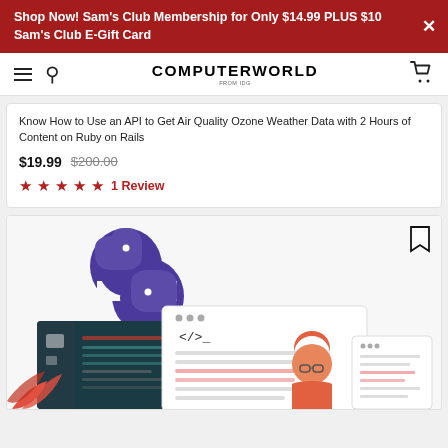Shop Now! Sam's Club Membership for Only $14.99 PLUS $10 Sam's Club E-Gift Card
COMPUTERWORLD
Know How to Use an API to Get Air Quality Ozone Weather Data with 2 Hours of Content on Ruby on Rails
$19.99  $200.00
★★★★★ 1 Review
[Figure (illustration): Python logo (dark purple snake icon) above a coding illustration showing a developer sitting at a desk with code editor windows and browser windows]